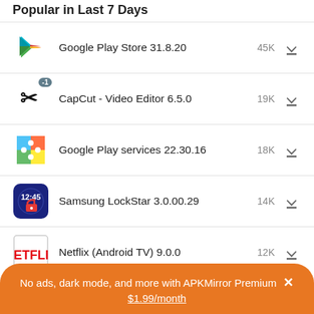Popular in Last 7 Days
Google Play Store 31.8.20 45K
CapCut - Video Editor 6.5.0 19K
Google Play services 22.30.16 18K
Samsung LockStar 3.0.00.29 14K
Netflix (Android TV) 9.0.0 12K
No ads, dark mode, and more with APKMirror Premium × $1.99/month